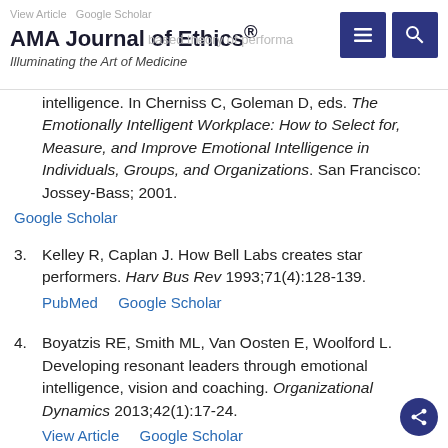AMA Journal of Ethics® — Illuminating the Art of Medicine
intelligence. In Cherniss C, Goleman D, eds. The Emotionally Intelligent Workplace: How to Select for, Measure, and Improve Emotional Intelligence in Individuals, Groups, and Organizations. San Francisco: Jossey-Bass; 2001. Google Scholar
3. Kelley R, Caplan J. How Bell Labs creates star performers. Harv Bus Rev 1993;71(4):128-139. PubMed  Google Scholar
4. Boyatzis RE, Smith ML, Van Oosten E, Woolford L. Developing resonant leaders through emotional intelligence, vision and coaching. Organizational Dynamics 2013;42(1):17-24. View Article  Google Scholar
5. Ashkanasy NM, Daus CS. Emotion in the workplace: the new challenge for managers. Acad Manage